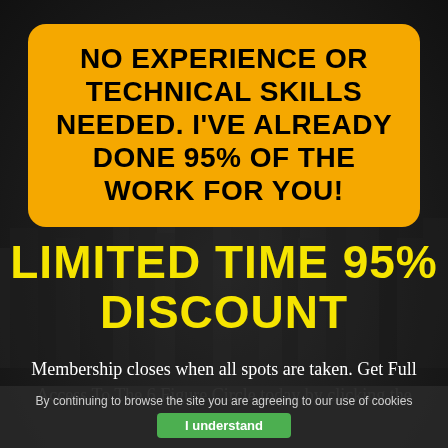NO EXPERIENCE OR TECHNICAL SKILLS NEEDED. I'VE ALREADY DONE 95% OF THE WORK FOR YOU!
LIMITED TIME 95% DISCOUNT
Membership closes when all spots are taken. Get Full Access To The 6 Figure Circle today by clicking the button below now!
By continuing to browse the site you are agreeing to our use of cookies  I understand